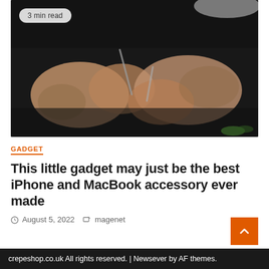[Figure (photo): Person with tattooed arms using tools, working with small objects on dark background. A badge reading '3 min read' appears in the upper left corner of the image.]
GADGET
This little gadget may just be the best iPhone and MacBook accessory ever made
August 5, 2022   magenet
crepeshop.co.uk All rights reserved. | Newsever by AF themes.